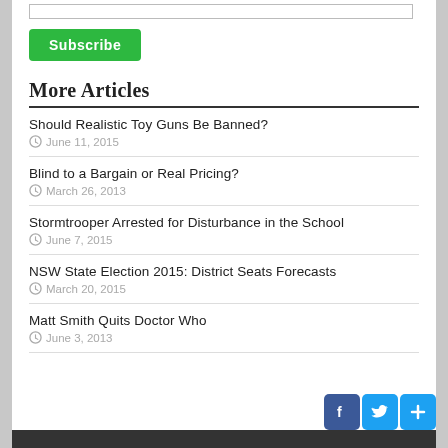Subscribe
More Articles
Should Realistic Toy Guns Be Banned? — June 11, 2015
Blind to a Bargain or Real Pricing? — March 26, 2013
Stormtrooper Arrested for Disturbance in the School — June 7, 2015
NSW State Election 2015: District Seats Forecasts — March 20, 2015
Matt Smith Quits Doctor Who — June 3, 2013